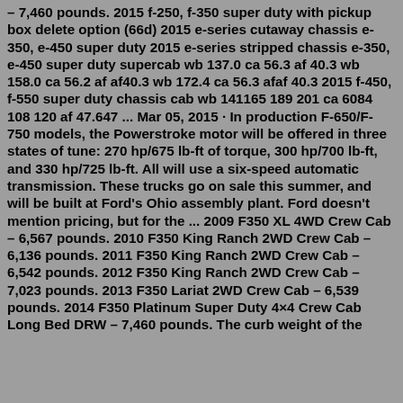– 7,460 pounds. 2015 f-250, f-350 super duty with pickup box delete option (66d) 2015 e-series cutaway chassis e-350, e-450 super duty 2015 e-series stripped chassis e-350, e-450 super duty supercab wb 137.0 ca 56.3 af 40.3 wb 158.0 ca 56.2 af af40.3 wb 172.4 ca 56.3 afaf 40.3 2015 f-450, f-550 super duty chassis cab wb 141165 189 201 ca 6084 108 120 af 47.647 ... Mar 05, 2015 · In production F-650/F-750 models, the Powerstroke motor will be offered in three states of tune: 270 hp/675 lb-ft of torque, 300 hp/700 lb-ft, and 330 hp/725 lb-ft. All will use a six-speed automatic transmission. These trucks go on sale this summer, and will be built at Ford's Ohio assembly plant. Ford doesn't mention pricing, but for the ... 2009 F350 XL 4WD Crew Cab – 6,567 pounds. 2010 F350 King Ranch 2WD Crew Cab – 6,136 pounds. 2011 F350 King Ranch 2WD Crew Cab – 6,542 pounds. 2012 F350 King Ranch 2WD Crew Cab – 7,023 pounds. 2013 F350 Lariat 2WD Crew Cab – 6,539 pounds. 2014 F350 Platinum Super Duty 4×4 Crew Cab Long Bed DRW – 7,460 pounds. The curb weight of the